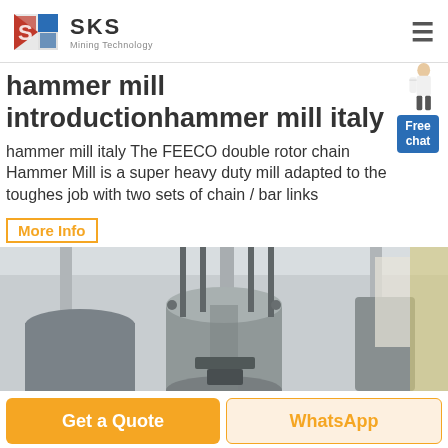SKS Mining Technology
hammer mill introductionhammer mill italy
hammer mill italy The FEECO double rotor chain Hammer Mill is a super heavy duty mill adapted to the toughest job with two sets of chain / bar links
More Info
[Figure (photo): Industrial hammer mill machinery in a factory setting, showing large cylindrical steel equipment with vertical shafts and mechanical components.]
Get a Quote
WhatsApp